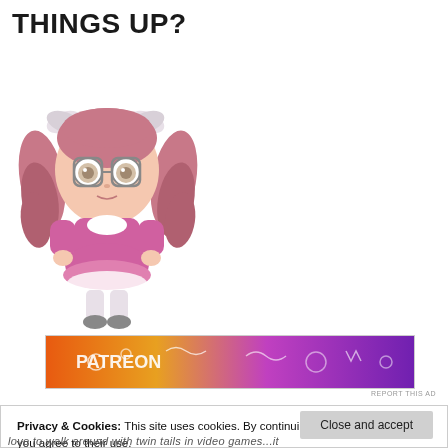THINGS UP?
[Figure (illustration): Chibi anime girl character with pink twintail hair, round glasses, wearing a pink maid-style dress]
[Figure (infographic): Colorful advertisement banner with orange-to-purple gradient, featuring decorative doodles and text]
REPORT THIS AD
Privacy & Cookies: This site uses cookies. By continuing to use this website, you agree to their use. To find out more, including how to control cookies, see here: Cookie Policy
love to walk around with twin tails in video games...it